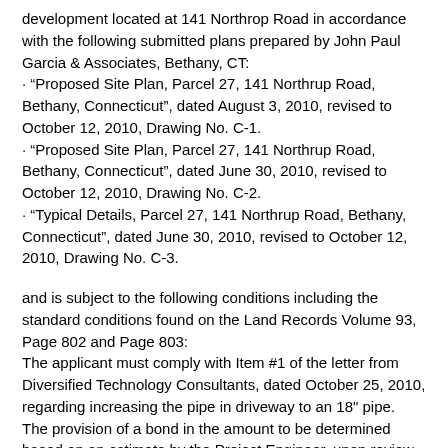development located at 141 Northrop Road in accordance with the following submitted plans prepared by John Paul Garcia & Associates, Bethany, CT:
· "Proposed Site Plan, Parcel 27, 141 Northrup Road, Bethany, Connecticut", dated August 3, 2010, revised to October 12, 2010, Drawing No. C-1.
· "Proposed Site Plan, Parcel 27, 141 Northrup Road, Bethany, Connecticut", dated June 30, 2010, revised to October 12, 2010, Drawing No. C-2.
· "Typical Details, Parcel 27, 141 Northrup Road, Bethany, Connecticut", dated June 30, 2010, revised to October 12, 2010, Drawing No. C-3.
and is subject to the following conditions including the standard conditions found on the Land Records Volume 93, Page 802 and Page 803:
The applicant must comply with Item #1 of the letter from Diversified Technology Consultants, dated October 25, 2010, regarding increasing the pipe in driveway to an 18" pipe.
The provision of a bond in the amount to be determined based on an estimate by the Project Engineer, upon review by the Agency's Consulting Engineer and in a form